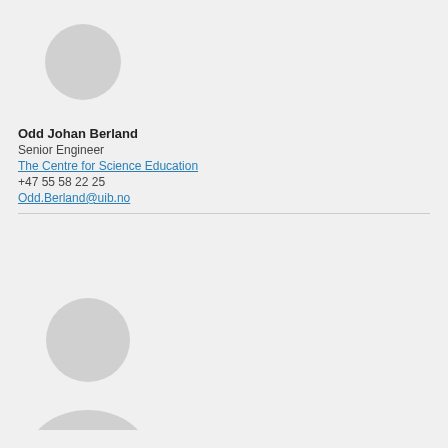[Figure (illustration): Placeholder avatar silhouette (head and shoulders) in light gray, partially cropped at top]
Odd Johan Berland
Senior Engineer
The Centre for Science Education
+47 55 58 22 25
Odd.Berland@uib.no
[Figure (illustration): Placeholder avatar silhouette (head and shoulders) in light gray, fully visible]
Mereee Rekkek Reek